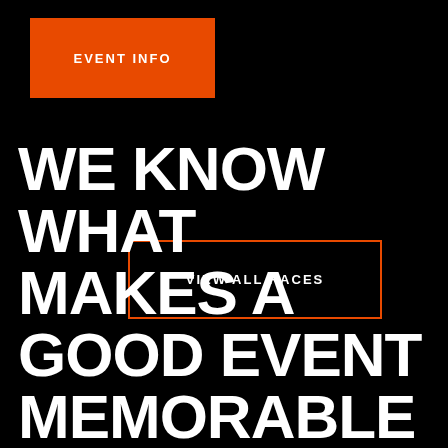EVENT INFO
VIEW ALL RACES
WE KNOW WHAT MAKES A GOOD EVENT MEMORABLE